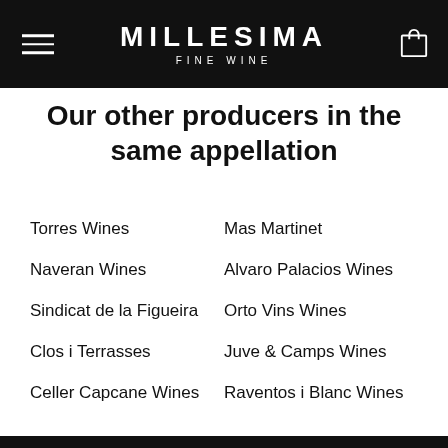MILLESIMA FINE WINE
Our other producers in the same appellation
Torres Wines
Mas Martinet
Naveran Wines
Alvaro Palacios Wines
Sindicat de la Figueira
Orto Vins Wines
Clos i Terrasses
Juve & Camps Wines
Celler Capcane Wines
Raventos i Blanc Wines